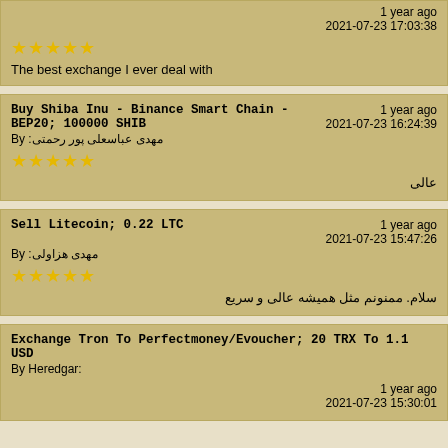1 year ago
2021-07-23 17:03:38
★★★★★
The best exchange I ever deal with
Buy Shiba Inu - Binance Smart Chain - BEP20; 100000 SHIB
1 year ago
2021-07-23 16:24:39
By: مهدی عباسعلی پور رحمتی
★★★★★
عالی
Sell Litecoin; 0.22 LTC
1 year ago
2021-07-23 15:47:26
By: مهدی هزاولی
★★★★★
سلام. ممنونم مثل همیشه عالی و سریع
Exchange Tron To Perfectmoney/Evoucher; 20 TRX To 1.1 USD
By Heredgar:
1 year ago
2021-07-23 15:30:01